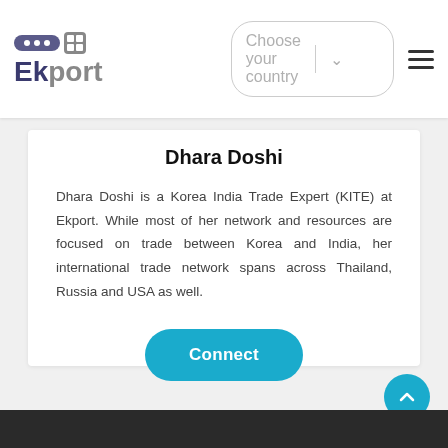[Figure (logo): Ekport logo with purple speech bubble icon and grid icon, text 'Ekport' in dark blue and gray]
Dhara Doshi
Dhara Doshi is a Korea India Trade Expert (KITE) at Ekport. While most of her network and resources are focused on trade between Korea and India, her international trade network spans across Thailand, Russia and USA as well.
[Figure (other): Connect button — teal rounded rectangle with white text 'Connect']